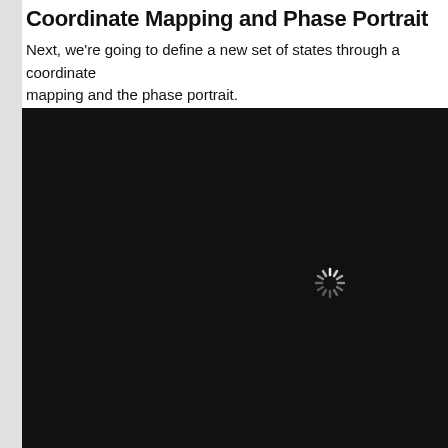Coordinate Mapping and Phase Portrait
Next, we're going to define a new set of states through a coordinate mapping and the phase portrait.
[Figure (screenshot): A large black rectangle representing a loading/embedded video or interactive widget area, with a white spinning loader icon visible near the center-right of the black area.]